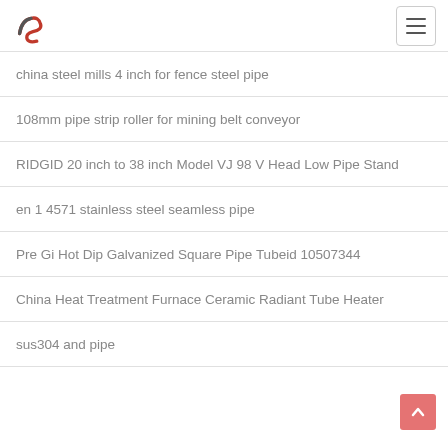Navigation header with logo and hamburger menu
china steel mills 4 inch for fence steel pipe
108mm pipe strip roller for mining belt conveyor
RIDGID 20 inch to 38 inch Model VJ 98 V Head Low Pipe Stand
en 1 4571 stainless steel seamless pipe
Pre Gi Hot Dip Galvanized Square Pipe Tubeid 10507344
China Heat Treatment Furnace Ceramic Radiant Tube Heater
sus304 and pipe